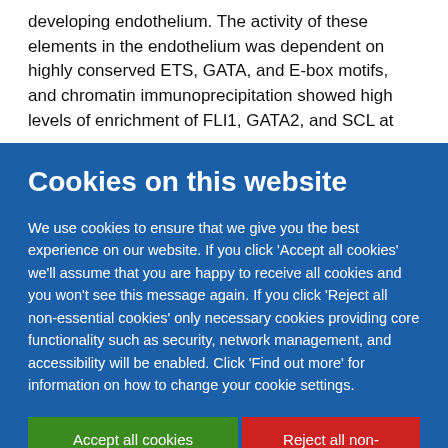developing endothelium. The activity of these elements in the endothelium was dependent on highly conserved ETS, GATA, and E-box motifs, and chromatin immunoprecipitation showed high levels of enrichment of FLI1, GATA2, and SCL at
Cookies on this website
We use cookies to ensure that we give you the best experience on our website. If you click 'Accept all cookies' we'll assume that you are happy to receive all cookies and you won't see this message again. If you click 'Reject all non-essential cookies' only necessary cookies providing core functionality such as security, network management, and accessibility will be enabled. Click 'Find out more' for information on how to change your cookie settings.